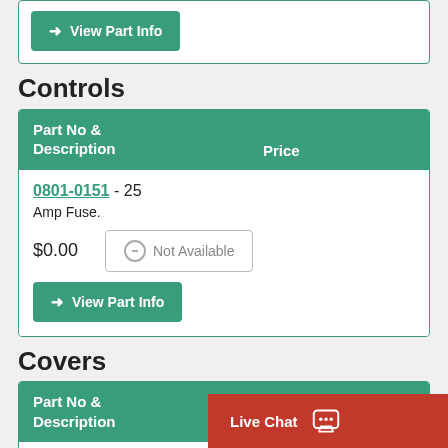[Figure (screenshot): Partial top card with green 'View Part Info' button]
Controls
| Part No & Description | Price |
| --- | --- |
| 0801-0151 - 25 Amp Fuse. | $0.00 |
Covers
| Part No & Description | Price |
| --- | --- |
| 74510-915A - Lens Cover Set |  |
[Figure (screenshot): Live Chat button bar in red at bottom right]